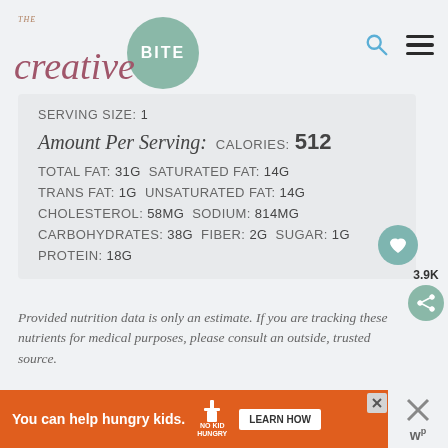THE creative BITE
| SERVING SIZE: 1 |
| Amount Per Serving: CALORIES: 512 |
| TOTAL FAT: 31g | SATURATED FAT: 14g |
| TRANS FAT: 1g | UNSATURATED FAT: 14g |
| CHOLESTEROL: 58mg | SODIUM: 814mg |
| CARBOHYDRATES: 38g | FIBER: 2g | SUGAR: 1g |
| PROTEIN: 18g |
Provided nutrition data is only an estimate. If you are tracking these nutrients for medical purposes, please consult an outside, trusted source.
[Figure (other): Advertisement banner: You can help hungry kids. No Kid Hungry. LEARN HOW]